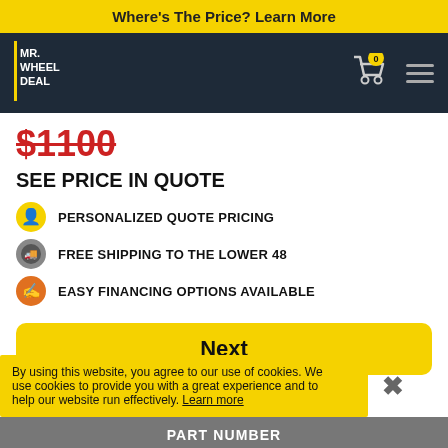Where's The Price? Learn More
[Figure (logo): Mr. Wheel Deal logo - white text on dark navy background]
$1100
SEE PRICE IN QUOTE
PERSONALIZED QUOTE PRICING
FREE SHIPPING TO THE LOWER 48
EASY FINANCING OPTIONS AVAILABLE
Next
By using this website, you agree to our use of cookies. We use cookies to provide you with a great experience and to help our website run effectively. Learn more
purposes only and product.
PART NUMBER
AIRLIFT-78601
DETAILS